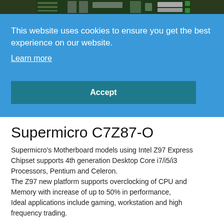[Figure (photo): PCB/motherboard strip at top of page, green circuit board with connectors visible]
This website uses cookies to ensure you get the best experience on our website.
Learn more
Accept
Supermicro C7Z87-O
Supermicro's Motherboard models using Intel Z97 Express Chipset supports 4th generation Desktop Core i7/i5/i3 Processors, Pentium and Celeron.
The Z97 new platform supports overclocking of CPU and Memory with increase of up to 50% in performance,
Ideal applications include gaming, workstation and high frequency trading.
Features: